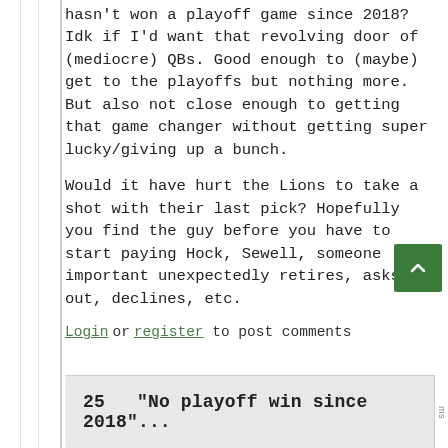hasn't won a playoff game since 2018? Idk if I'd want that revolving door of (mediocre) QBs. Good enough to (maybe) get to the playoffs but nothing more. But also not close enough to getting that game changer without getting super lucky/giving up a bunch.
Would it have hurt the Lions to take a shot with their last pick? Hopefully you find the guy before you have to start paying Hock, Sewell, someone important unexpectedly retires, asks out, declines, etc.
Log in or register to post comments
25  "No playoff win since 2018"...